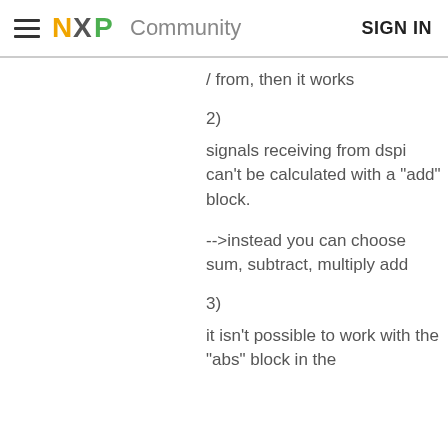NXP Community  SIGN IN
/ from, then it works
2)
signals receiving from dspi can't be calculated with a "add" block.
-->instead you can choose sum, subtract, multiply add
3)
it isn't possible to work with the "abs" block in the